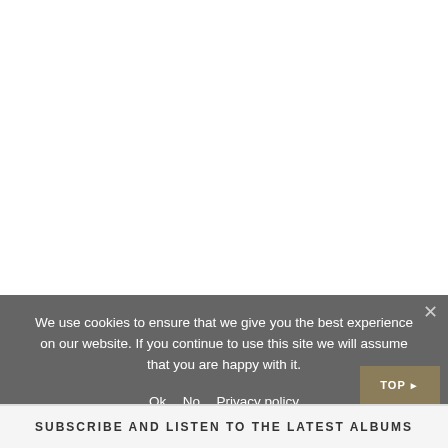We use cookies to ensure that we give you the best experience on our website. If you continue to use this site we will assume that you are happy with it.
Ok   No   Privacy policy
SUBSCRIBE AND LISTEN TO THE LATEST ALBUMS